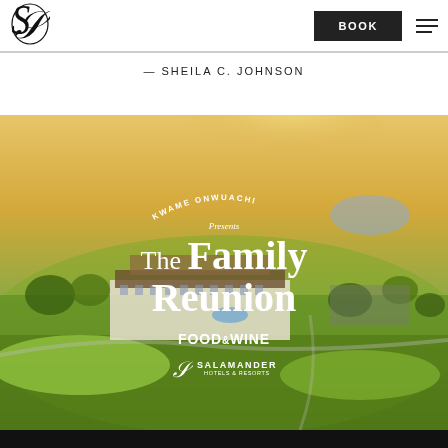[Figure (logo): Salamander Hotels & Resorts stylized S logo in black]
BOOK
— SHEILA C. JOHNSON
[Figure (photo): Aerial drone photograph of a luxury resort and golf course surrounded by green countryside at golden hour sunset, overlaid with text: KWAME ONWUACHI Presents The Family Reunion, FOOD & WINE, Salamander Hotels & Resorts logo]